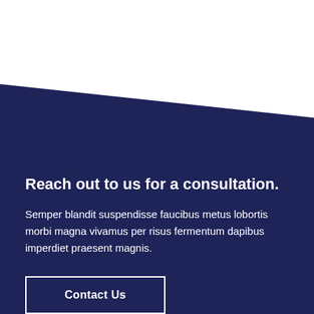[Figure (illustration): Dark navy blue diagonal/angled background shape covering the lower two-thirds of the page, creating a geometric decorative element against a white top area.]
Reach out to us for a consultation.
Semper blandit suspendisse faucibus metus lobortis morbi magna vivamus per risus fermentum dapibus imperdiet praesent magnis.
Contact Us